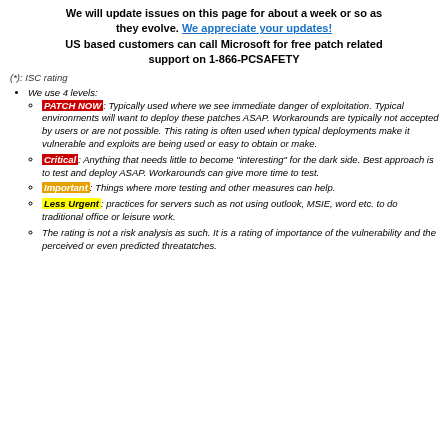We will update issues on this page for about a week or so as they evolve. We appreciate your updates! US based customers can call Microsoft for free patch related support on 1-866-PCSAFETY
(*): ISC rating
We use 4 levels:
PATCH NOW: Typically used where we see immediate danger of exploitation. Typical environments will want to deploy these patches ASAP. Workarounds are typically not accepted by users or are not possible. This rating is often used when typical deployments make it vulnerable and exploits are being used or easy to obtain or make.
Critical: Anything that needs little to become "interesting" for the dark side. Best approach is to test and deploy ASAP. Workarounds can give more time to test.
Important: Things where more testing and other measures can help.
Less Urgent: practices for servers such as not using outlook, MSIE, word etc. to do traditional office or leisure work.
The rating is not a risk analysis as such. It is a rating of importance of the vulnerability and the perceived or even predicted threatatches.